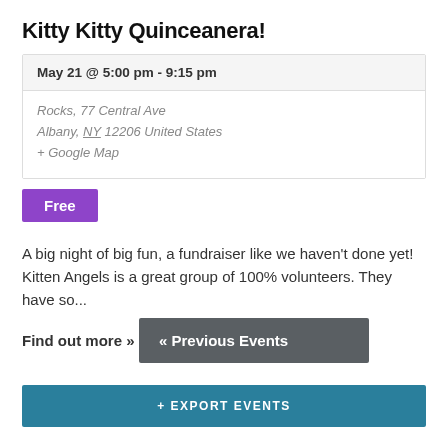Kitty Kitty Quinceanera!
May 21 @ 5:00 pm - 9:15 pm
Rocks, 77 Central Ave
Albany, NY 12206 United States
+ Google Map
Free
A big night of big fun, a fundraiser like we haven't done yet! Kitten Angels is a great group of 100% volunteers. They have so...
Find out more »
« Previous Events
+ EXPORT EVENTS